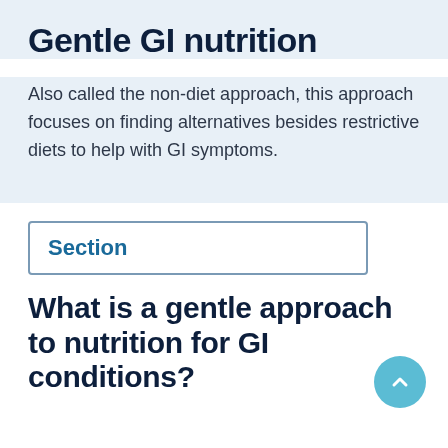Gentle GI nutrition
Also called the non-diet approach, this approach focuses on finding alternatives besides restrictive diets to help with GI symptoms.
Section
What is a gentle approach to nutrition for GI conditions?